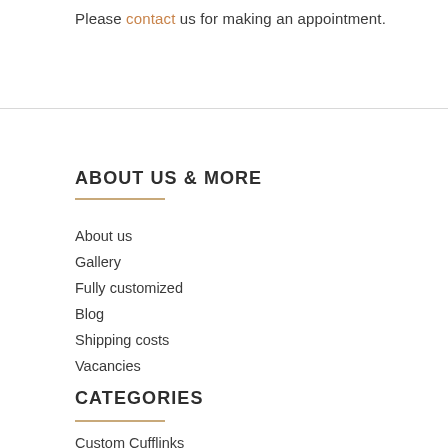Please contact us for making an appointment.
ABOUT US & MORE
About us
Gallery
Fully customized
Blog
Shipping costs
Vacancies
CATEGORIES
Custom Cufflinks